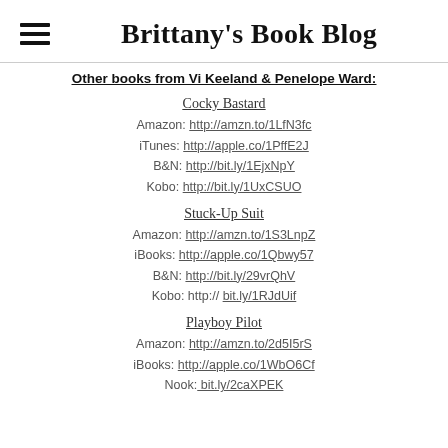Brittany's Book Blog
Other books from Vi Keeland & Penelope Ward:
Cocky Bastard
Amazon: http://amzn.to/1LfN3fc
iTunes: http://apple.co/1PffE2J
B&N: http://bit.ly/1EjxNpY
Kobo: http://bit.ly/1UxCSUO
Stuck-Up Suit
Amazon: http://amzn.to/1S3LnpZ
iBooks: http://apple.co/1Qbwy57
B&N: http://bit.ly/29vrQhV
Kobo: http:// bit.ly/1RJdUif
Playboy Pilot
Amazon: http://amzn.to/2d5I5rS
iBooks: http://apple.co/1WbO6Cf
Nook: bit.ly/2caXPEK